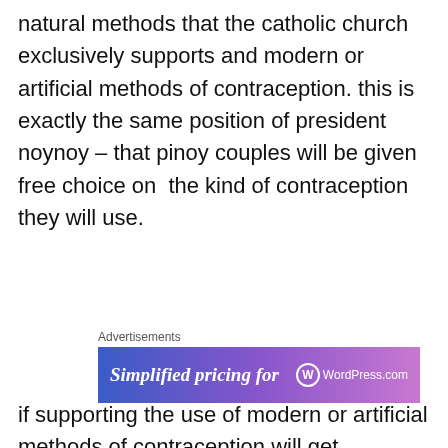natural methods that the catholic church exclusively supports and modern or artificial methods of contraception. this is exactly the same position of president noynoy – that pinoy couples will be given free choice on the kind of contraception they will use.
[Figure (screenshot): WordPress.com advertisement banner with text 'Simplified pricing for' on a blue-purple gradient background with WordPress.com logo]
if supporting the use of modern or artificial methods of contraception will get president noynoy excommunicated,
Privacy & Cookies: This site uses cookies. By continuing to use this website, you agree to their use.
To find out more, including how to control cookies, see here: Cookie Policy
the philippines. there will be no catholic church to speak